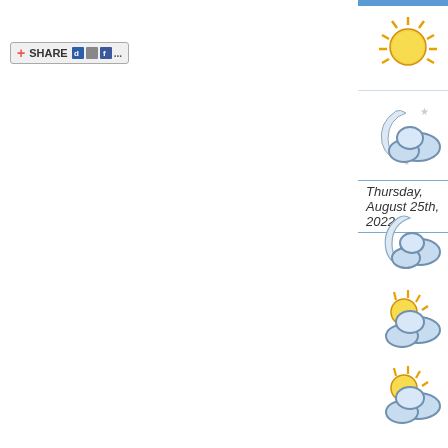[Figure (screenshot): Share button with social media icons]
Wednesday Afternoon
Sunny.
Wednesday Evening
Clear with cloudy periods.
Thursday, August 25th, 2022
Overnight
A mix of cloudy and clear skies.
Thursday Morning
A mix of cloud and sun. Windy at times.
Thursday Afternoon
A mix of cloud and sun. Slight chance of a thundersto
Thursday Evening
A mix of cloudy and clear skies. Slight chance of a th
Friday, August 26th, 2022
Overnight
A mix of cloudy and clear skies.
Friday Morning
A mix of cloud and sun. Slight chance of a thundersto
Friday Afternoon